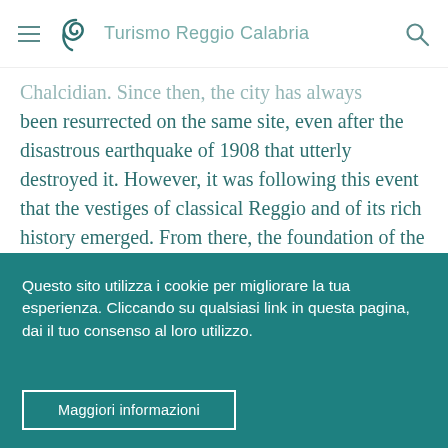Turismo Reggio Calabria
Chalcidian. Since then, the city has always been resurrected on the same site, even after the disastrous earthquake of 1908 that utterly destroyed it. However, it was following this event that the vestiges of classical Reggio and of its rich history emerged. From there, the foundation of the Magna Grecia Museum soon after contributed to the culture and beauty of the Reggio area. Today, Reggio is a cultural city and not only thanks to its
Questo sito utilizza i cookie per migliorare la tua esperienza. Cliccando su qualsiasi link in questa pagina, dai il tuo consenso al loro utilizzo.
Maggiori informazioni